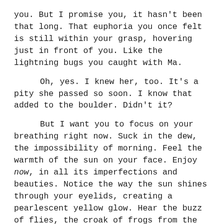you. But I promise you, it hasn't been that long. That euphoria you once felt is still within your grasp, hovering just in front of you. Like the lightning bugs you caught with Ma.
Oh, yes. I knew her, too. It's a pity she passed so soon. I know that added to the boulder. Didn't it?
But I want you to focus on your breathing right now. Suck in the dew, the impossibility of morning. Feel the warmth of the sun on your face. Enjoy now, in all its imperfections and beauties. Notice the way the sun shines through your eyelids, creating a pearlescent yellow glow. Hear the buzz of flies, the croak of frogs from the pond down the bend, the chatter of your old neighbor, Mrs. Carmody, as she brings in her groceries.